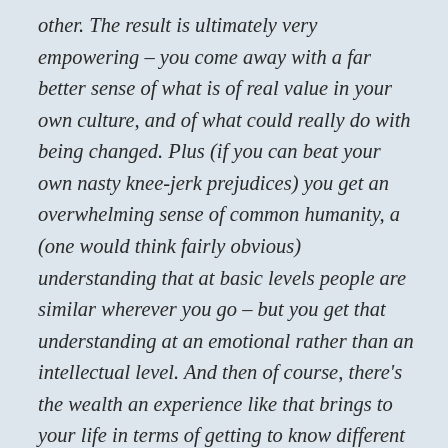other. The result is ultimately very empowering – you come away with a far better sense of what is of real value in your own culture, and of what could really do with being changed. Plus (if you can beat your own nasty knee-jerk prejudices) you get an overwhelming sense of common humanity, a (one would think fairly obvious) understanding that at basic levels people are similar wherever you go – but you get that understanding at an emotional rather than an intellectual level. And then of course, there's the wealth an experience like that brings to your life in terms of getting to know different food, different music, different languages, different kinds of humour ... and all of those